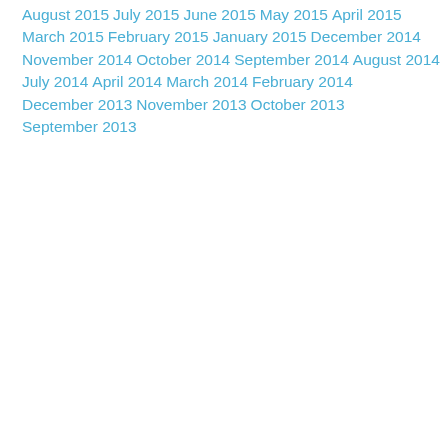August 2015
July 2015
June 2015
May 2015
April 2015
March 2015
February 2015
January 2015
December 2014
November 2014
October 2014
September 2014
August 2014
July 2014
April 2014
March 2014
February 2014
December 2013
November 2013
October 2013
September 2013